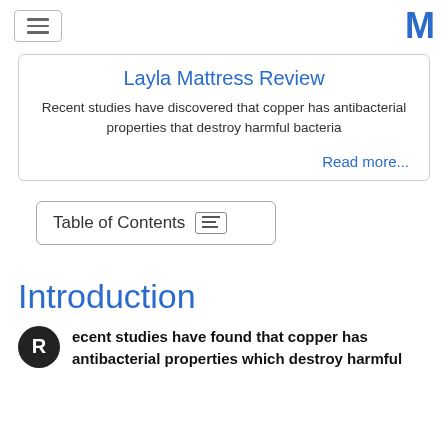Layla Mattress Review
Layla Mattress Review
Recent studies have discovered that copper has antibacterial properties that destroy harmful bacteria
Read more...
Table of Contents
Introduction
ecent studies have found that copper has antibacterial properties which destroy harmful